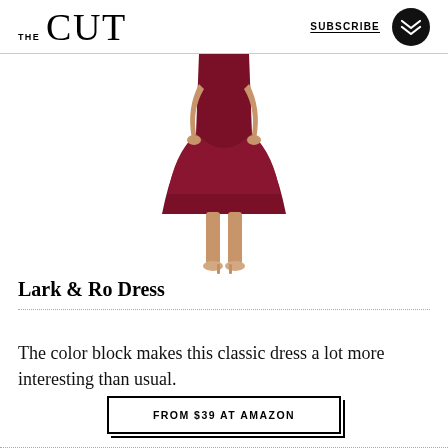THE CUT  SUBSCRIBE
[Figure (photo): Partial view of a woman wearing a dark burgundy/maroon color block fit-and-flare dress, showing from waist down, with nude heels.]
Lark & Ro Dress
The color block makes this classic dress a lot more interesting than usual.
FROM $39 AT AMAZON